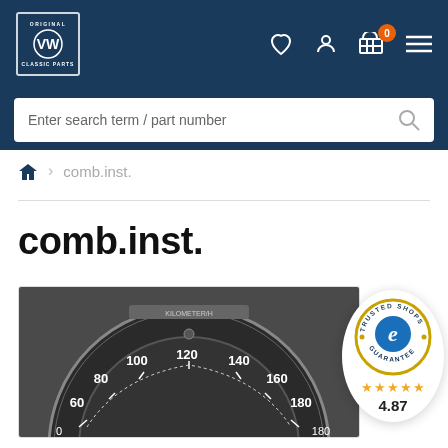[Figure (screenshot): VW Classic Parts website header with logo, heart icon, user icon, shopping cart (0 items), and hamburger menu on dark navy background]
Enter search term / part number
🏠 > comb.inst.
comb.inst.
[Figure (photo): VW vintage speedometer/combination instrument gauge showing scale from approximately 40 to 180, partially visible in circular black casing]
[Figure (logo): Trusted Shops guarantee badge with gold ring, 'e' logo, 5 stars rating and score 4.87]